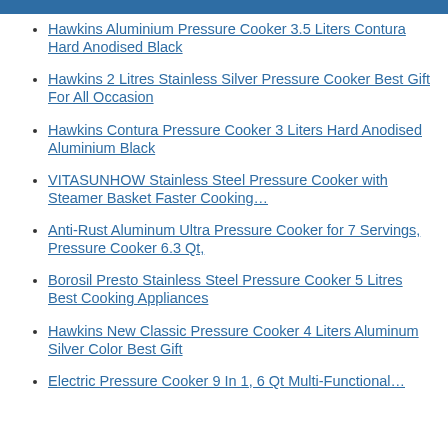Hawkins Aluminium Pressure Cooker 3.5 Liters Contura Hard Anodised Black
Hawkins 2 Litres Stainless Silver Pressure Cooker Best Gift For All Occasion
Hawkins Contura Pressure Cooker 3 Liters Hard Anodised Aluminium Black
VITASUNHOW Stainless Steel Pressure Cooker with Steamer Basket Faster Cooking…
Anti-Rust Aluminum Ultra Pressure Cooker for 7 Servings, Pressure Cooker 6.3 Qt,
Borosil Presto Stainless Steel Pressure Cooker 5 Litres Best Cooking Appliances
Hawkins New Classic Pressure Cooker 4 Liters Aluminum Silver Color Best Gift
Electric Pressure Cooker 9 In 1, 6 Qt Multi-Functional…